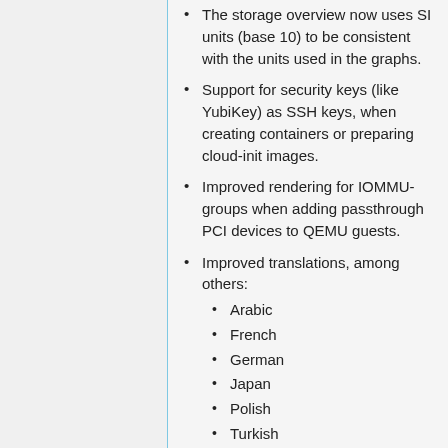The storage overview now uses SI units (base 10) to be consistent with the units used in the graphs.
Support for security keys (like YubiKey) as SSH keys, when creating containers or preparing cloud-init images.
Improved rendering for IOMMU-groups when adding passthrough PCI devices to QEMU guests.
Improved translations, among others: Arabic, French, German, Japan, Polish, Turkish